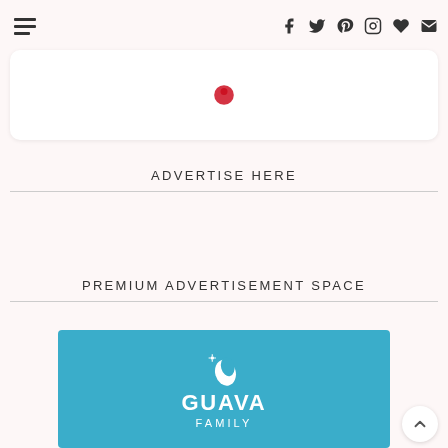Navigation menu and social icons header
[Figure (logo): Partial top card with small red icon visible]
ADVERTISE HERE
PREMIUM ADVERTISEMENT SPACE
[Figure (logo): Guava Family logo on teal/blue background with leaf icon, text GUAVA FAMILY]